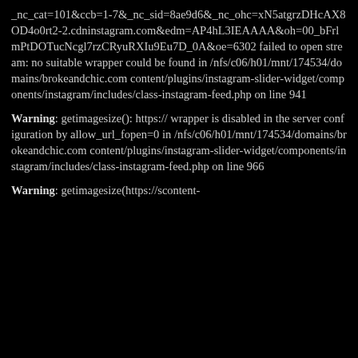_nc_cat=101&ccb=1-7&_nc_sid=8ae9d6&_nc_ohc=xN5atgrzDHcAX8OD4o0rt2-2.cdninstagram.com&edm=AP4hL3IEAAAA&oh=00_bFrlmPtDOTucNcgl7rzCRyuRXIu9Eu7D_0A&oe=6302 failed to open stream: no suitable wrapper could be found in /nfs/c06/h01/mnt/174534/domains/brokeandchic.com content/plugins/instagram-slider-widget/components/instagram/includes/class-instagram-feed.php on line 941
Warning: getimagesize(): https:// wrapper is disabled in the server configuration by allow_url_fopen=0 in /nfs/c06/h01/mnt/174534/domains/brokeandchic.com content/plugins/instagram-slider-widget/components/instagram/includes/class-instagram-feed.php on line 966
Warning: getimagesize(https://scontent-